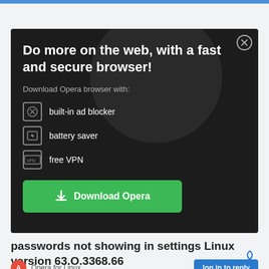[Figure (screenshot): Opera browser advertisement banner with dark background. Title: 'Do more on the web, with a fast and secure browser!' Features listed: built-in ad blocker, battery saver, free VPN. Green 'Download Opera' button.]
passwords not showing in settings Linux version 63.O.3368.66
Opera for Linux
log in to reply